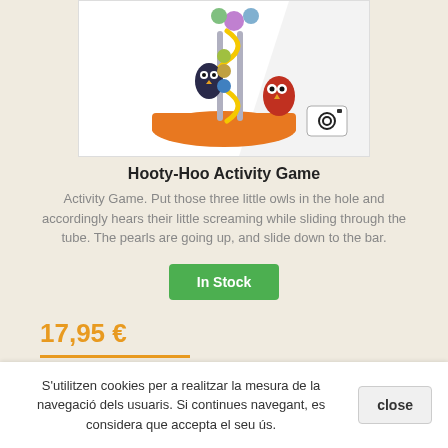[Figure (photo): Hooty-Hoo Activity Game toy product image showing colorful wooden bead maze with owl characters on an orange base]
Hooty-Hoo Activity Game
Activity Game. Put those three little owls in the hole and accordingly hears their little screaming while sliding through the tube. The pearls are going up, and slide down to the bar.
In Stock
17,95 €
S'utilitzen cookies per a realitzar la mesura de la navegació dels usuaris. Si continues navegant, es considera que accepta el seu ús.
close